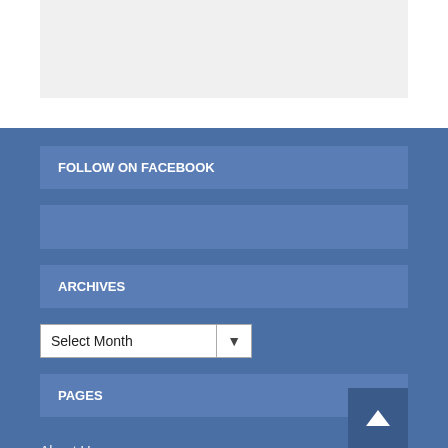[Figure (screenshot): Gray placeholder box at the top of the page]
FOLLOW ON FACEBOOK
[Figure (screenshot): Facebook widget placeholder box]
ARCHIVES
Select Month (dropdown)
PAGES
About Us
Advertising with us